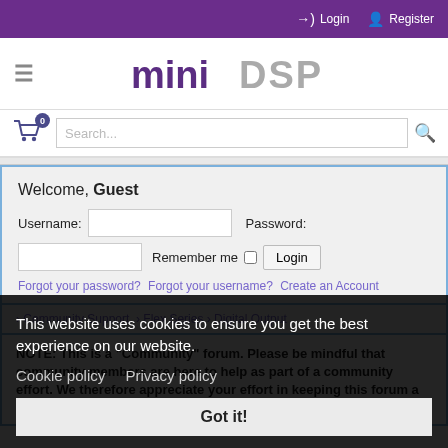Login  Register
[Figure (logo): miniDSP logo — 'mini' in purple cursive/bold and 'DSP' in gray bold]
Search...
Welcome, Guest
Username:  Password:  Remember me  Login
Forgot your password? Forgot your username? Create an Account
Community Support  › Flex Series › Digital Output
NOTE: This is a "Community" forum. Please be mindful that community members are here to help as part of a community effort. We therefore appreciate your effort in keeping this forum a happy place!
This website uses cookies to ensure you get the best experience on our website. Cookie policy  Privacy policy  Got it!